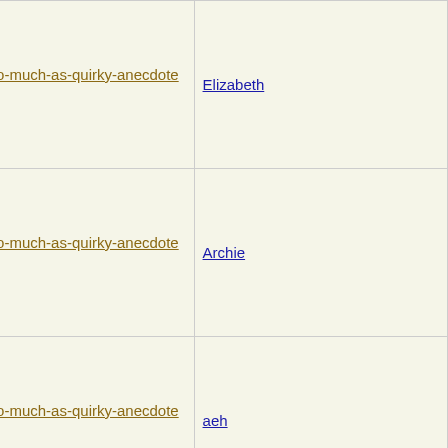| Subject | Author |
| --- | --- |
| Re: Not-really-brag-so-much-as-quirky-anecdote thread | Elizabeth |
| Re: Not-really-brag-so-much-as-quirky-anecdote thread | Archie |
| Re: Not-really-brag-so-much-as-quirky-anecdote thread | aeh |
| Re: Not-really-brag-so-much-as-quirky-anecdote thread | cricket3 |
| Re: Not-really-brag-so-much-as-quirky-anecdote thread | LazyMum |
| Re: Not-really-brag-so-much-as-quirky-anecdote thread | RRD |
| Re: Not-really-brag-so-much-as- | NothorP... |